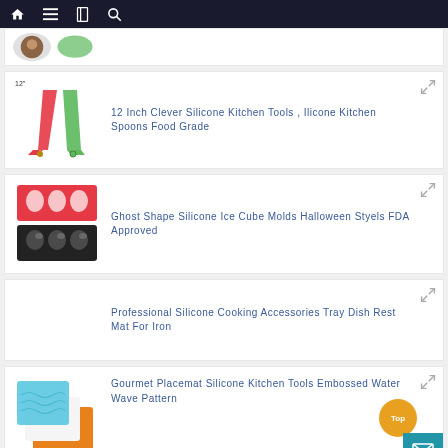Navigation bar with home, menu, book, and search icons
[Figure (photo): Partial product card showing small product image at top of page]
12 Inch Clever Silicone Kitchen Tools , Ilicone Kitchen Spoons Food Grade
Ghost Shape Silicone Ice Cube Molds Halloween Styels FDA Approved
Professional Silicone Cooking Accessories Tray Dish Rest Mat For Iron
Gourmet Placemat Silicone Kitchen Tools Embossed Water Wave Pattern